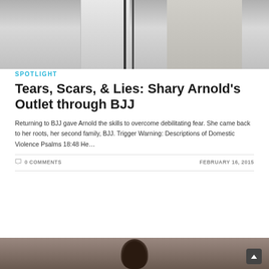[Figure (photo): Two people in white martial arts uniforms (BJJ gi) standing together, with black straps/belts visible, cropped to show torso and lower body only]
SPOTLIGHT
Tears, Scars, & Lies: Shary Arnold's Outlet through BJJ
Returning to BJJ gave Arnold the skills to overcome debilitating fear. She came back to her roots, her second family, BJJ. Trigger Warning: Descriptions of Domestic Violence Psalms 18:48 He…
0 COMMENTS
FEBRUARY 16, 2015
[Figure (photo): Partial photo at bottom of page showing a person's head/hair, likely a woman, against a blurred background]